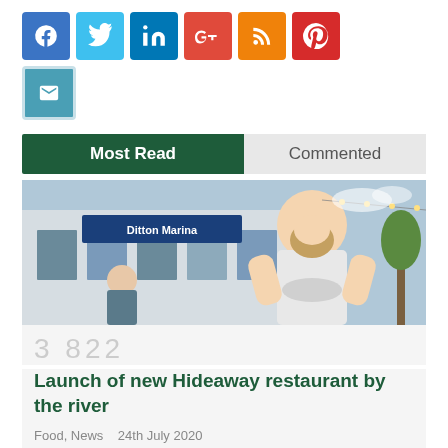[Figure (infographic): Social media sharing icons: Facebook (blue), Twitter (light blue), LinkedIn (dark blue), Google+ (red), RSS (orange), Pinterest (red), Email (teal)]
Most Read | Commented
[Figure (photo): A bearded man in a white shirt standing outside Ditton Marina restaurant]
3 822
Launch of new Hideaway restaurant by the river
Food, News   24th July 2020